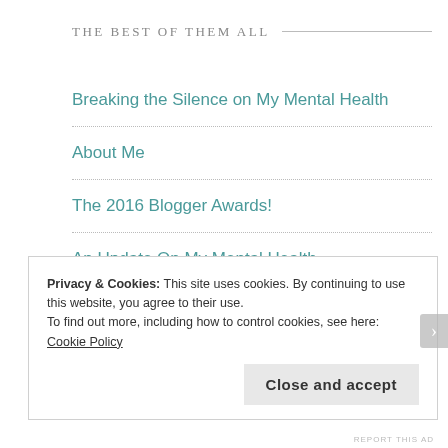THE BEST OF THEM ALL
Breaking the Silence on My Mental Health
About Me
The 2016 Blogger Awards!
An Update On My Mental Health
Lone Obsession | Creative Writing
I Have 3000 Followers???
Privacy & Cookies: This site uses cookies. By continuing to use this website, you agree to their use.
To find out more, including how to control cookies, see here: Cookie Policy
Close and accept
REPORT THIS AD